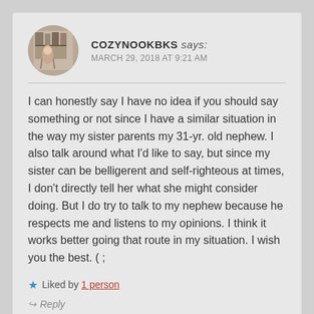COZYNOOKBKS says: MARCH 29, 2018 AT 9:21 AM
I can honestly say I have no idea if you should say something or not since I have a similar situation in the way my sister parents my 31-yr. old nephew. I also talk around what I’d like to say, but since my sister can be belligerent and self-righteous at times, I don’t directly tell her what she might consider doing. But I do try to talk to my nephew because he respects me and listens to my opinions. I think it works better going that route in my situation. I wish you the best. ( ;
★ Liked by 1 person
↪ Reply